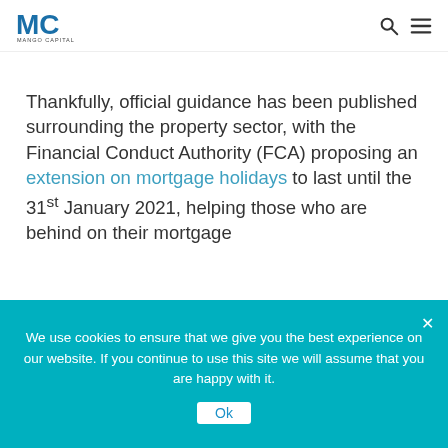MC [logo] [search icon] [menu icon]
Thankfully, official guidance has been published surrounding the property sector, with the Financial Conduct Authority (FCA) proposing an extension on mortgage holidays to last until the 31st January 2021, helping those who are behind on their mortgage
We use cookies to ensure that we give you the best experience on our website. If you continue to use this site we will assume that you are happy with it.
Ok